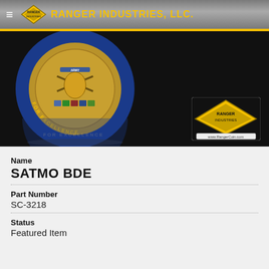RANGER INDUSTRIES, LLC.
[Figure (photo): Military challenge coin (SATMO BDE) with blue border inscribed FOR EXCELLENCE, shown against black background with Ranger Industries logo and www.RangerCoin.com watermark]
Name
SATMO BDE
Part Number
SC-3218
Status
Featured Item